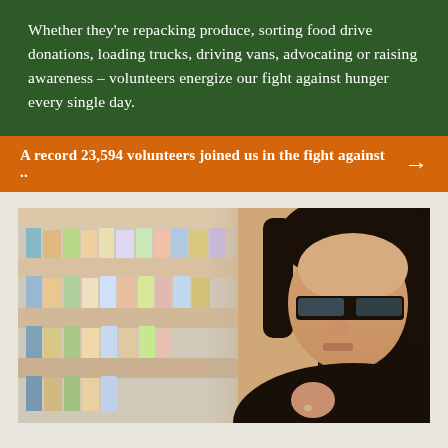Whether they're repacking produce, sorting food drive donations, loading trucks, driving vans, advocating or raising awareness – volunteers energize our fight against hunger every single day.
A record 23,594 volunteers joined us in the fight against ..
[Figure (photo): A woman with short dark hair and glasses, wearing a dark top, seated in front of shelves filled with colorful pamphlets or brochures. She appears to be speaking or reflecting, with her hand near her chest.]